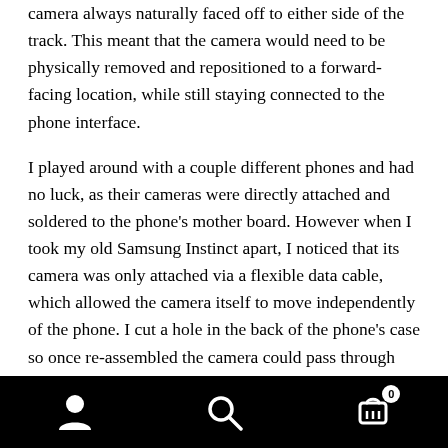camera always naturally faced off to either side of the track. This meant that the camera would need to be physically removed and repositioned to a forward-facing location, while still staying connected to the phone interface.
I played around with a couple different phones and had no luck, as their cameras were directly attached and soldered to the phone's mother board. However when I took my old Samsung Instinct apart, I noticed that its camera was only attached via a flexible data cable, which allowed the camera itself to move independently of the phone. I cut a hole in the back of the phone's case so once re-assembled the camera could pass through and be accessible and positioned from the outside. I built an external support
Navigation bar with person icon, search icon, and cart icon with badge 0